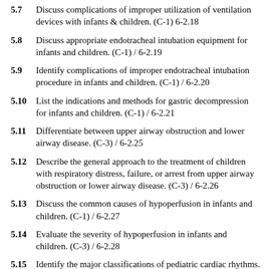5.7 Discuss complications of improper utilization of ventilation devices with infants & children. (C-1) 6-2.18
5.8 Discuss appropriate endotracheal intubation equipment for infants and children. (C-1) / 6-2.19
5.9 Identify complications of improper endotracheal intubation procedure in infants and children. (C-1) / 6-2.20
5.10 List the indications and methods for gastric decompression for infants and children. (C-1) / 6-2.21
5.11 Differentiate between upper airway obstruction and lower airway disease. (C-3) / 6-2.25
5.12 Describe the general approach to the treatment of children with respiratory distress, failure, or arrest from upper airway obstruction or lower airway disease. (C-3) / 6-2.26
5.13 Discuss the common causes of hypoperfusion in infants and children. (C-1) / 6-2.27
5.14 Evaluate the severity of hypoperfusion in infants and children. (C-3) / 6-2.28
5.15 Identify the major classifications of pediatric cardiac rhythms. (C-1) 6-2.29
5.16 Discuss the primary etiologies of cardiopulmonary arrest in